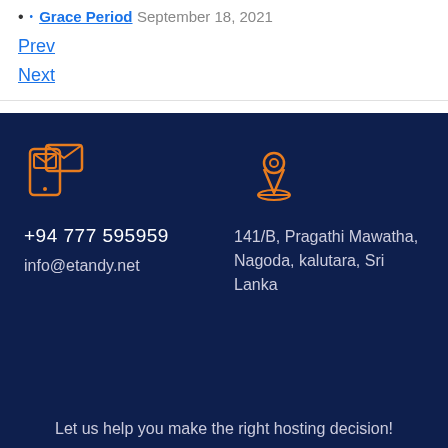Grace Period September 18, 2021
Prev
Next
[Figure (illustration): Orange icon of a smartphone and envelope (contact/email icon)]
+94 777 595959
info@etandy.net
[Figure (illustration): Orange map pin / location marker icon]
141/B, Pragathi Mawatha, Nagoda, kalutara, Sri Lanka
Let us help you make the right hosting decision!